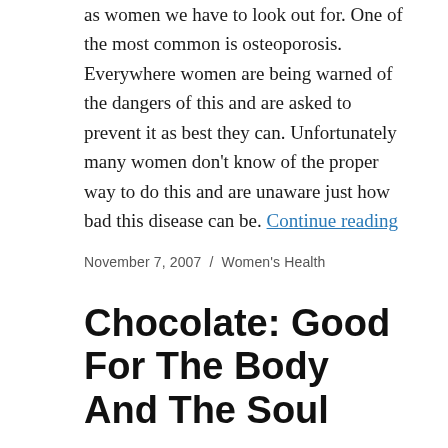as women we have to look out for. One of the most common is osteoporosis. Everywhere women are being warned of the dangers of this and are asked to prevent it as best they can. Unfortunately many women don't know of the proper way to do this and are unaware just how bad this disease can be. Continue reading
November 7, 2007 / Women's Health
Chocolate: Good For The Body And The Soul
As women we always have the urge to eat chocolate, especially when we are upset. Most